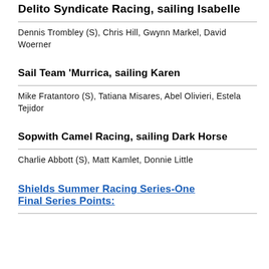Delito Syndicate Racing, sailing Isabelle
Dennis Trombley (S), Chris Hill, Gwynn Markel, David Woerner
Sail Team ‘Murrica, sailing Karen
Mike Fratantoro (S), Tatiana Misares, Abel Olivieri, Estela Tejidor
Sopwith Camel Racing, sailing Dark Horse
Charlie Abbott (S), Matt Kamlet, Donnie Little
Shields Summer Racing Series-One Final Series Points: